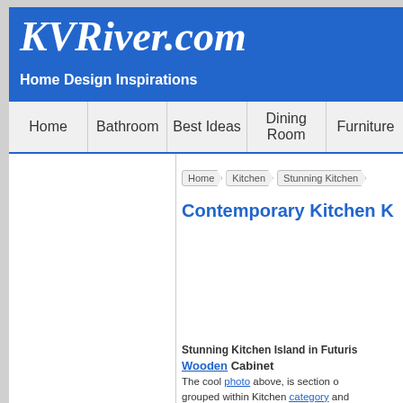KVRiver.com — Home Design Inspirations
KVRiver.com
Home Design Inspirations
Home
Bathroom
Best Ideas
Dining Room
Furniture
Home > Kitchen > Stunning Kitchen...
Contemporary Kitchen K...
Stunning Kitchen Island in Futuris... Wooden Cabinet
The cool photo above, is section o... grouped within Kitchen category and...